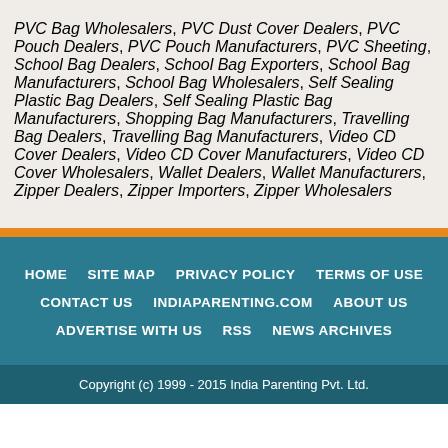PVC Bag Wholesalers, PVC Dust Cover Dealers, PVC Pouch Dealers, PVC Pouch Manufacturers, PVC Sheeting, School Bag Dealers, School Bag Exporters, School Bag Manufacturers, School Bag Wholesalers, Self Sealing Plastic Bag Dealers, Self Sealing Plastic Bag Manufacturers, Shopping Bag Manufacturers, Travelling Bag Dealers, Travelling Bag Manufacturers, Video CD Cover Dealers, Video CD Cover Manufacturers, Video CD Cover Wholesalers, Wallet Dealers, Wallet Manufacturers, Zipper Dealers, Zipper Importers, Zipper Wholesalers
HOME | SITE MAP | PRIVACY POLICY | TERMS OF USE | CONTACT US | INDIAPARENTING.COM | ABOUT US | ADVERTISE WITH US | RSS | NEWS ARCHIVES
Copyright (c) 1999 - 2015 India Parenting Pvt. Ltd.